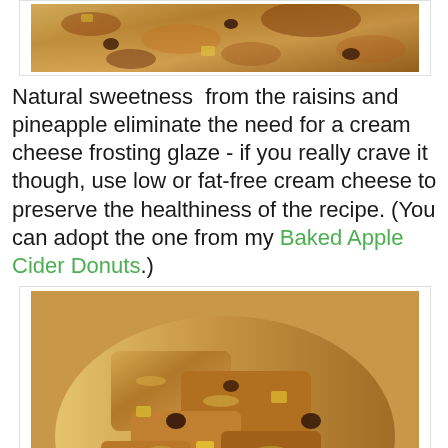[Figure (photo): Close-up photo of baked oat bars with raisins and pineapple pieces on a wooden surface, partially cropped at top]
Natural sweetness  from the raisins and pineapple eliminate the need for a cream cheese frosting glaze - if you really crave it though, use low or fat-free cream cheese to preserve the healthiness of the recipe. (You can adopt the one from my Baked Apple Cider Donuts.)
[Figure (photo): Close-up photo of baked oat bars with raisins, pineapple chunks and oats in a glass baking dish on a wooden surface]
[Figure (photo): Photo of baked oat bars in a glass baking dish on a wooden surface, partially visible at bottom of page]